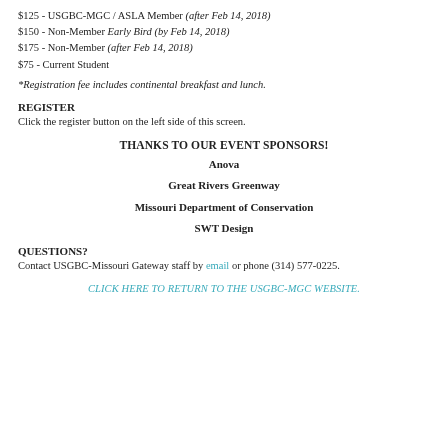$125 - USGBC-MGC / ASLA Member (after Feb 14, 2018)
$150 - Non-Member Early Bird (by Feb 14, 2018)
$175 - Non-Member (after Feb 14, 2018)
$75 - Current Student
*Registration fee includes continental breakfast and lunch.
REGISTER
Click the register button on the left side of this screen.
THANKS TO OUR EVENT SPONSORS!
Anova
Great Rivers Greenway
Missouri Department of Conservation
SWT Design
QUESTIONS?
Contact USGBC-Missouri Gateway staff by email or phone (314) 577-0225.
CLICK HERE TO RETURN TO THE USGBC-MGC WEBSITE.